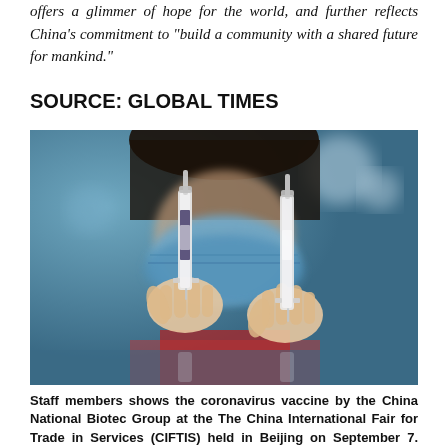offers a glimmer of hope for the world, and further reflects China's commitment to "build a community with a shared future for mankind."
SOURCE: GLOBAL TIMES
[Figure (photo): A person wearing a blue face mask holds up two coronavirus vaccine syringes, one in each hand, displaying them to the camera.]
Staff members shows the coronavirus vaccine by the China National Biotec Group at the The China International Fair for Trade in Services (CIFTIS) held in Beijing on September 7. Photo by Luo Wei/People's Daily Online